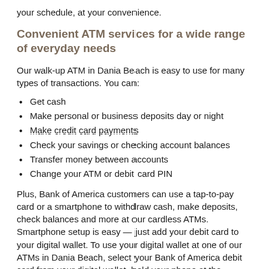your schedule, at your convenience.
Convenient ATM services for a wide range of everyday needs
Our walk-up ATM in Dania Beach is easy to use for many types of transactions. You can:
Get cash
Make personal or business deposits day or night
Make credit card payments
Check your savings or checking account balances
Transfer money between accounts
Change your ATM or debit card PIN
Plus, Bank of America customers can use a tap-to-pay card or a smartphone to withdraw cash, make deposits, check balances and more at our cardless ATMs. Smartphone setup is easy — just add your debit card to your digital wallet. To use your digital wallet at one of our ATMs in Dania Beach, select your Bank of America debit card from your digital wallet, hold your phone at the contactless reader, enter your PIN, and tap the screen to get started.